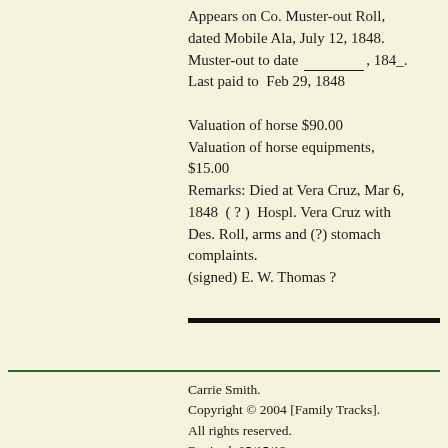Appears on Co. Muster-out Roll, dated Mobile Ala, July 12, 1848. Muster-out to date ______, 184_. Last paid to Feb 29, 1848

Valuation of horse $90.00
Valuation of horse equipments, $15.00
Remarks: Died at Vera Cruz, Mar 6, 1848 ( ? ) Hospl. Vera Cruz with Des. Roll, arms and (?) stomach complaints.
(signed) E. W. Thomas ?
Carrie Smith.
Copyright © 2004 [Family Tracks].
All rights reserved.
Revised: 05/15/12.